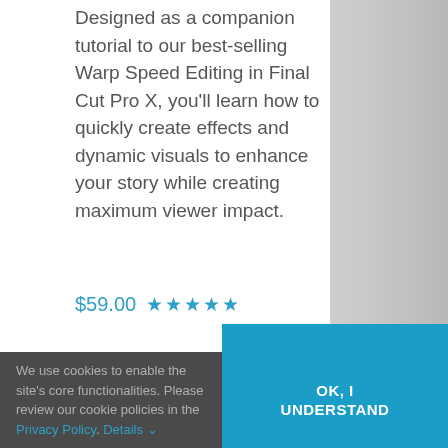Designed as a companion tutorial to our best-selling Warp Speed Editing in Final Cut Pro X, you'll learn how to quickly create effects and dynamic visuals to enhance your story while creating maximum viewer impact.
$59.00 ★★★★★
We use cookies to enable the site's core functionalities. Please review our cookie policies in the Privacy Policy. Details ∨
OK, I UNDERSTAND